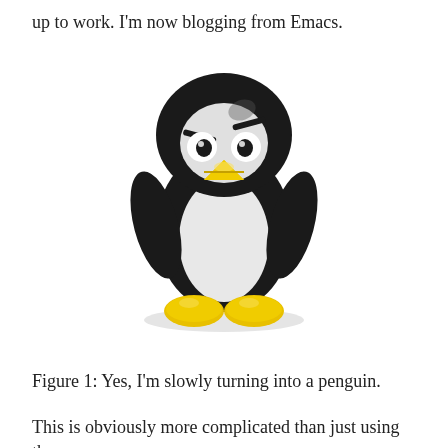up to work. I'm now blogging from Emacs.
[Figure (illustration): Tux the Linux penguin mascot — a cartoon penguin with black and white body, yellow beak, and yellow feet, shown in a friendly standing pose.]
Figure 1: Yes, I'm slowly turning into a penguin.
This is obviously more complicated than just using the